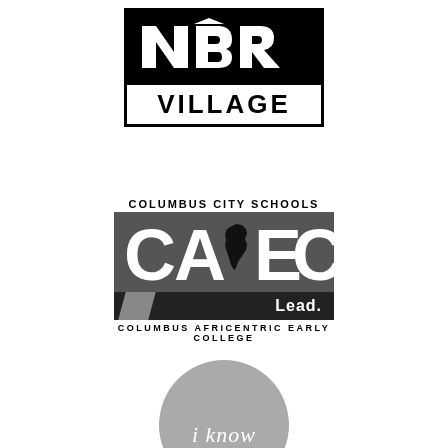[Figure (logo): NBR VILLAGE logo — black rectangle with stylized white text 'NBR' on top, white band below with 'VILLAGE' in bold black letters, all enclosed in a black border]
[Figure (logo): Columbus City Schools CAEC (Columbus Africentric Early College) logo — 'COLUMBUS CITY SCHOOLS' text above a dark grey box with large white 'CAEC' letters and silhouette of Africa continent, black bar below with diagonal slash and 'Lead.' text, 'COLUMBUS AFRICENTRIC EARLY COLLEGE' below]
[Figure (logo): Grey circle logo with italic white text 'i know' in lower case]